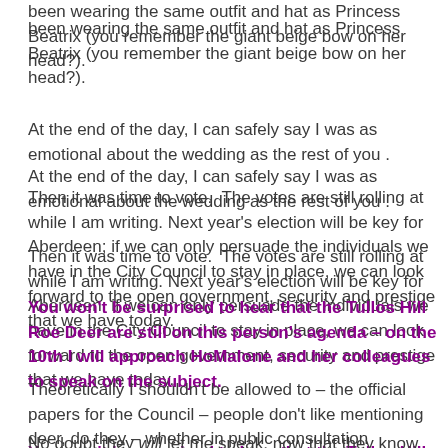been wearing the same outfit and hat as Princess Beatrix (you remember the giant beige bow on her head?).
At the end of the day, I can safely say I was as emotional about the wedding as the rest of you .
Then it was time to vote.  The votes are still rolling at while I am writing. Next year's election will be key for Aberdeen; if we can only persuade the individuals we have in the City Council to stay in place, we can look forward to the open government, security and prestige that we have today.
You won't be surprised to hear that the Tullos Hill Roe Deer are still on this person's agenda – on the 10th I will approach HoMalone and her colleagues to speak on the subject.
Theoretically I shouldn't be allowed to – the official papers for the Council – people don't like mentioning deer, do they – whether in public consultation
No doubt they will let me speak, now that they know that Torry Community affair and have unanimously condemned the cull. Malone is quoted